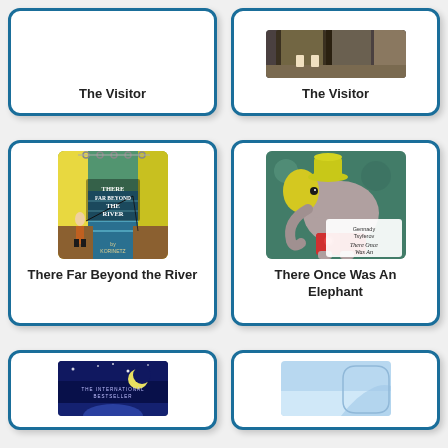[Figure (photo): Book card for 'The Visitor' - left, no cover image visible, title only]
The Visitor
[Figure (photo): Book card for 'The Visitor' - right, with partial cover image showing a door/hallway scene]
The Visitor
[Figure (photo): Book card for 'There Far Beyond the River' with illustrated cover showing a man fishing near a waterfall, by Korinetz]
There Far Beyond the River
[Figure (photo): Book card for 'There Once Was An Elephant' with illustrated cover showing an elephant in red shorts, by Gennady Tsyferov]
There Once Was An Elephant
[Figure (photo): Bottom left book card - partially cropped, showing a dark blue cover with 'The International Bestseller' text]
[Figure (photo): Bottom right book card - partially cropped, showing a light blue/white cover]